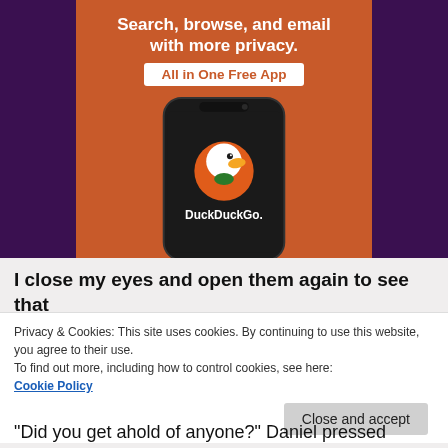[Figure (screenshot): DuckDuckGo advertisement banner showing a smartphone mockup with DuckDuckGo logo and text 'Search, browse, and email with more privacy. All in One Free App']
I close my eyes and open them again to see that
Privacy & Cookies: This site uses cookies. By continuing to use this website, you agree to their use.
To find out more, including how to control cookies, see here:
Cookie Policy
Close and accept
“Did you get ahold of anyone?” Daniel pressed